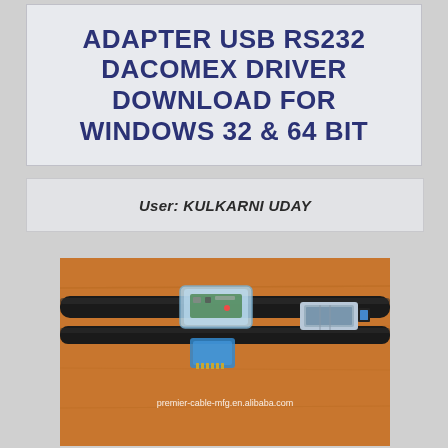ADAPTER USB RS232 DACOMEX DRIVER DOWNLOAD FOR WINDOWS 32 & 64 BIT
User: KULKARNI UDAY
[Figure (photo): Photo of a USB to RS232 adapter cable with a transparent blue inline converter module and a black cable with RJ connector, shown on a wooden surface. Watermark reads: premier-cable-mfg.en.alibaba.com]